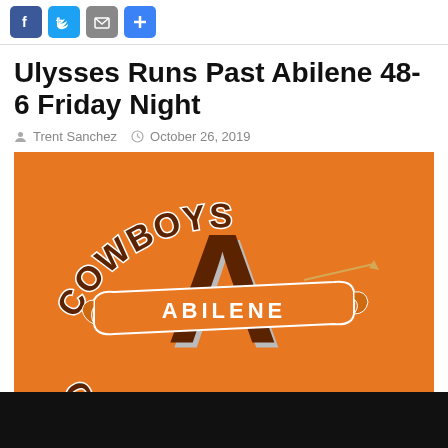[Figure (logo): Social media share icons: Facebook (blue), Twitter (blue), email/envelope (gray), plus/add (blue)]
Ulysses Runs Past Abilene 48-6 Friday Night
Trent Sanchez   October 26, 2019
[Figure (illustration): Orange background with Abilene Cowboys and Cowgirls logo — large brown letter A with 'ABILENE' banner, arched text 'COWBOYS' at top and 'COWGIRLS' at bottom, white outlines.]
The Abilene Cowboys fell to 0-8 on the season with a 48-6